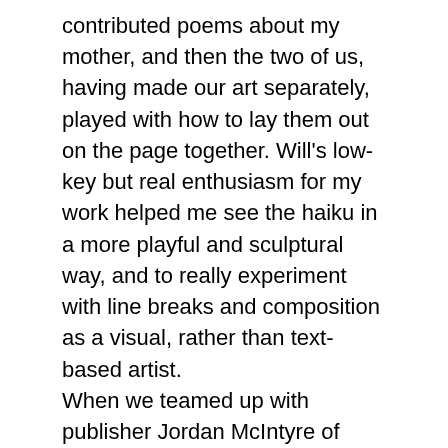contributed poems about my mother, and then the two of us, having made our art separately, played with how to lay them out on the page together. Will's low-key but real enthusiasm for my work helped me see the haiku in a more playful and sculptural way, and to really experiment with line breaks and composition as a visual, rather than text-based artist. When we teamed up with publisher Jordan McIntyre of Brooklyn-based Crumpled Press, Jordan asked us to re-think the line breaks and pushed me to add more haiku from 2011 about place and space, in order to emphasize a spatial as well as emotional link between Will's work and mine. The result was a book that invites readers to think about the haiku and sculpture alternately, rather than simultaneously, to heighten the effect of